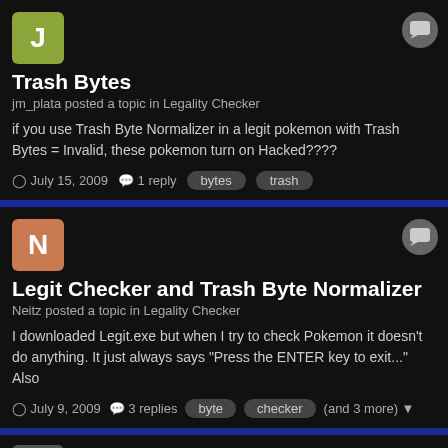[Figure (illustration): Avatar letter J in olive/green square]
Trash Bytes
jm_plata posted a topic in Legality Checker
if you use Trash Byte Normalizer in a legit pokemon with Trash Bytes = Invalid, these pokemon turn on Hacked????
July 15, 2009   1 reply   bytes   trash
[Figure (illustration): Avatar letter N in salmon/orange square]
Legit Checker and Trash Byte Normalizer
Neitz posted a topic in Legality Checker
I downloaded Legit.exe but when I try to check Pokemon it doesn't do anything. It just always says "Press the ENTER key to exit..." Also
July 9, 2009   3 replies   byte   checker   (and 3 more)